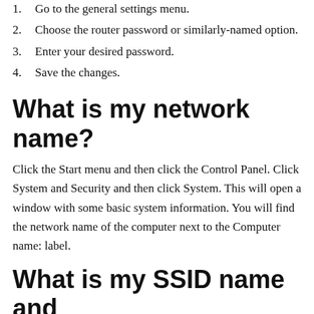1. Go to the general settings menu.
2. Choose the router password or similarly-named option.
3. Enter your desired password.
4. Save the changes.
What is my network name?
Click the Start menu and then click the Control Panel. Click System and Security and then click System. This will open a window with some basic system information. You will find the network name of the computer next to the Computer name: label.
What is my SSID name and password?